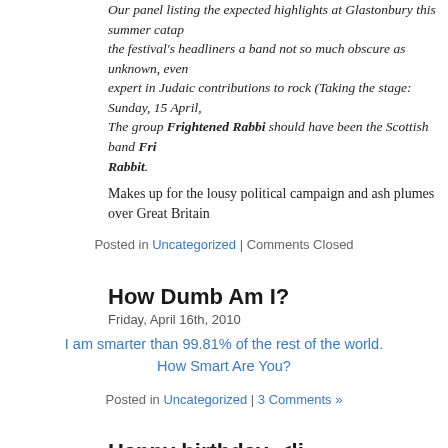Our panel listing the expected highlights at Glastonbury this summer catap the festival's headliners a band not so much obscure as unknown, even expert in Judaic contributions to rock (Taking the stage: Sunday, 15 April, The group Frightened Rabbi should have been the Scottish band Frightened Rabbit.
Makes up for the lousy political campaign and ash plumes over Great Britain
Posted in Uncategorized | Comments Closed
How Dumb Am I?
Friday, April 16th, 2010
I am smarter than 99.81% of the rest of the world.
How Smart Are You?
Posted in Uncategorized | 3 Comments »
Happy birthday, <lj user="j8d">&#8230;
Friday, April 16th, 2010
…and many happy returns of the day!
Posted in Uncategorized | Comments Closed